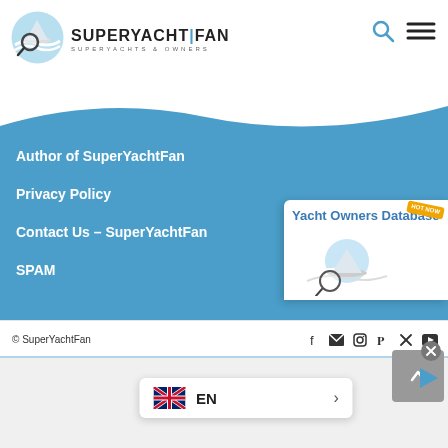[Figure (logo): SuperYachtFan logo with magnifying glass over yacht on water circle, text SUPERYACHT|FAN and SUPERYACHTS & OWNERS]
[Figure (illustration): Search and hamburger menu icons in top right]
[Figure (illustration): Blue wave background behind navigation links]
Author of SuperYachtFan
Privacy Policy
Contact Us – SuperYachtFan
SPAM
[Figure (illustration): Yacht Owners Database card with logo image and HOT NOW badge]
[Figure (illustration): Scroll-to-top button (grey box with up chevron)]
[Figure (illustration): Language selector showing UK flag and EN with right arrow]
© SuperYachtFan
[Figure (illustration): Advertisement area at bottom with close button and play button]